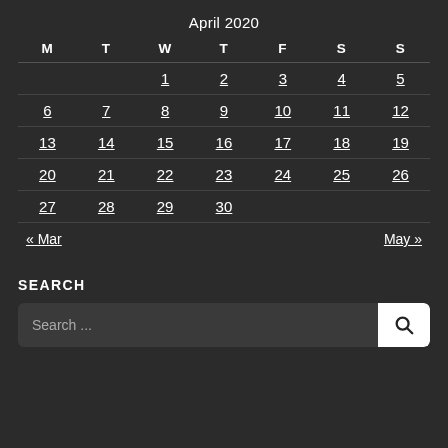April 2020
| M | T | W | T | F | S | S |
| --- | --- | --- | --- | --- | --- | --- |
|  |  | 1 | 2 | 3 | 4 | 5 |
| 6 | 7 | 8 | 9 | 10 | 11 | 12 |
| 13 | 14 | 15 | 16 | 17 | 18 | 19 |
| 20 | 21 | 22 | 23 | 24 | 25 | 26 |
| 27 | 28 | 29 | 30 |  |  |  |
« Mar    May »
SEARCH
Search ...